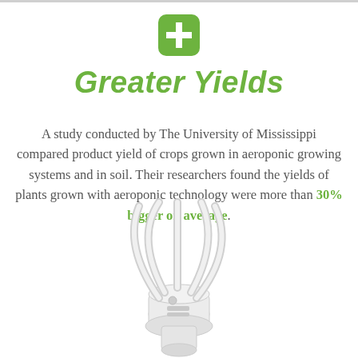[Figure (illustration): Green rounded square icon with a white plus/cross symbol in the center]
Greater Yields
A study conducted by The University of Mississippi compared product yield of crops grown in aeroponic growing systems and in soil. Their researchers found the yields of plants grown with aeroponic technology were more than 30% bigger on average.
[Figure (photo): White aeroponic growing system device with curved tubes/nozzles arching upward, photographed against a white background]